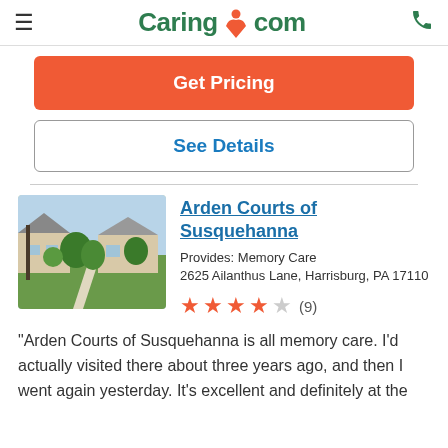≡  Caring.com  📞
Get Pricing
See Details
Arden Courts of Susquehanna
Provides: Memory Care
2625 Ailanthus Lane, Harrisburg, PA 17110
★★★★☆ (9)
"Arden Courts of Susquehanna is all memory care. I'd actually visited there about three years ago, and then I went again yesterday. It's excellent and definitely at the